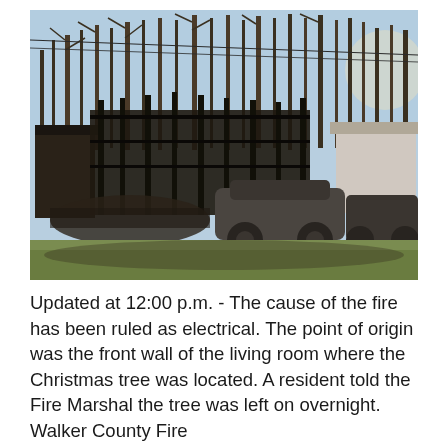[Figure (photo): Photograph showing the aftermath of a house fire. Burned-out structure with charred framework visible in the background. Two burned/fire-damaged cars are in the foreground on a grass lawn. Bare winter trees and blue sky visible in the background. A small intact outbuilding is visible on the right side.]
Updated at 12:00 p.m. - The cause of the fire has been ruled as electrical. The point of origin was the front wall of the living room where the Christmas tree was located. A resident told the Fire Marshal the tree was left on overnight. Walker County Fire